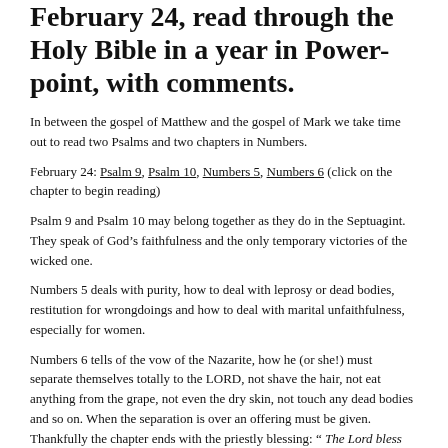February 24, read through the Holy Bible in a year in Power-point, with comments.
In between the gospel of Matthew and the gospel of Mark we take time out to read two Psalms and two chapters in Numbers.
February 24: Psalm 9, Psalm 10, Numbers 5, Numbers 6 (click on the chapter to begin reading)
Psalm 9 and Psalm 10 may belong together as they do in the Septuagint. They speak of God’s faithfulness and the only temporary victories of the wicked one.
Numbers 5 deals with purity, how to deal with leprosy or dead bodies, restitution for wrongdoings and how to deal with marital unfaithfulness, especially for women.
Numbers 6 tells of the vow of the Nazarite, how he (or she!) must separate themselves totally to the LORD, not shave the hair, not eat anything from the grape, not even the dry skin, not touch any dead bodies and so on. When the separation is over an offering must be given. Thankfully the chapter ends with the priestly blessing: “ The Lord bless thee, and keep thee. The Lord make his face shine upon thee